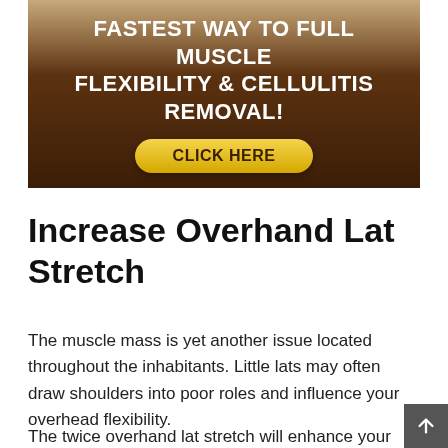[Figure (infographic): Advertisement banner with dark brown background. Text reads 'FASTEST WAY TO FULL MUSCLE FLEXIBILITY & CELLULITIS REMOVAL!' with a yellow 'CLICK HERE' button below.]
Increase Overhand Lat Stretch
The muscle mass is yet another issue located throughout the inhabitants. Little lats may often draw shoulders into poor roles and influence your overhead flexibility.
The twice overhand lat stretch will enhance your spine